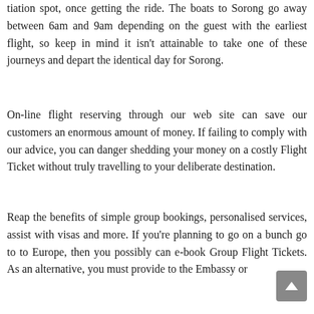tiation spot, once getting the ride. The boats to Sorong go away between 6am and 9am depending on the guest with the earliest flight, so keep in mind it isn't attainable to take one of these journeys and depart the identical day for Sorong.
On-line flight reserving through our web site can save our customers an enormous amount of money. If failing to comply with our advice, you can danger shedding your money on a costly Flight Ticket without truly travelling to your deliberate destination.
Reap the benefits of simple group bookings, personalised services, assist with visas and more. If you're planning to go on a bunch go to to Europe, then you possibly can e-book Group Flight Tickets. As an alternative, you must provide to the Embassy or